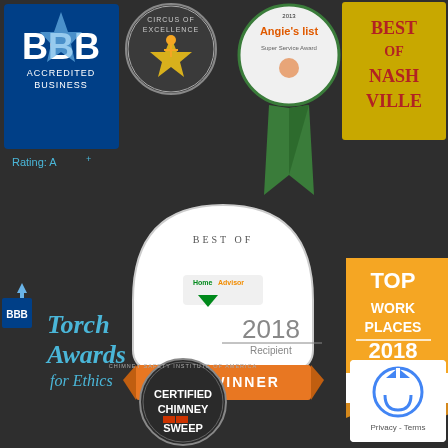[Figure (logo): BBB Accredited Business, Rating: A+ logo badge]
[Figure (logo): Circus of Excellence award badge with yellow star figure]
[Figure (logo): Angie's List 2013 Super Service Award ribbon badge]
[Figure (logo): Best of Nashville award badge with yellow text on dark background]
[Figure (logo): HomeAdvisor Best Of 2017 Winner badge with laurel wreath]
[Figure (logo): BBB Torch Awards for Ethics 2018 Recipient logo]
[Figure (logo): Top Work Places 2018 Tennessean gold bookmark badge]
[Figure (logo): Top Work Places 2019 Tennessean gold bookmark badge]
[Figure (logo): Certified Chimney Sweep - Chimney Safety Institute of America circular badge]
[Figure (logo): Google reCAPTCHA widget with Privacy and Terms links]